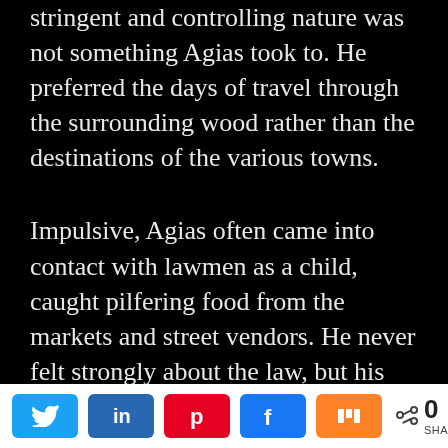stringent and controlling nature was not something Agias took to. He preferred the days of travel through the surrounding wood rather than the destinations of the various towns.
Impulsive, Agias often came into contact with lawmen as a child, caught pilfering food from the markets and street vendors. He never felt strongly about the law, but his own needs often took priority even if they went against the local law, which frequently led to his family uprooting and retreating to the surrounding woods, much to his joy.
0 SHARES